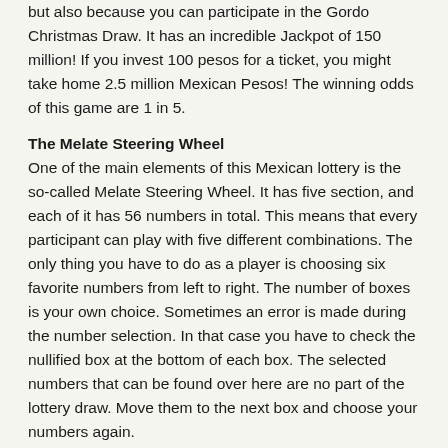but also because you can participate in the Gordo Christmas Draw. It has an incredible Jackpot of 150 million! If you invest 100 pesos for a ticket, you might take home 2.5 million Mexican Pesos! The winning odds of this game are 1 in 5.
The Melate Steering Wheel
One of the main elements of this Mexican lottery is the so-called Melate Steering Wheel. It has five section, and each of it has 56 numbers in total. This means that every participant can play with five different combinations. The only thing you have to do as a player is choosing six favorite numbers from left to right. The number of boxes is your own choice. Sometimes an error is made during the number selection. In that case you have to check the nullified box at the bottom of each box. The selected numbers that can be found over here are no part of the lottery draw. Move them to the next box and choose your numbers again.